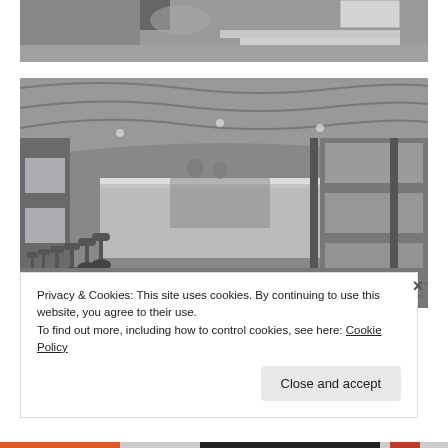[Figure (photo): Black and white photo showing exterior steps and concrete structure of a building, partially cropped at top of page.]
[Figure (photo): Black and white historical photograph of the interior of a diner, showing a long counter with bar stools on the left, a service counter/bar running down the center, arched ceiling, windows along the walls, and various kitchen/service equipment visible in the background.]
Privacy & Cookies: This site uses cookies. By continuing to use this website, you agree to their use.
To find out more, including how to control cookies, see here: Cookie Policy
Close and accept